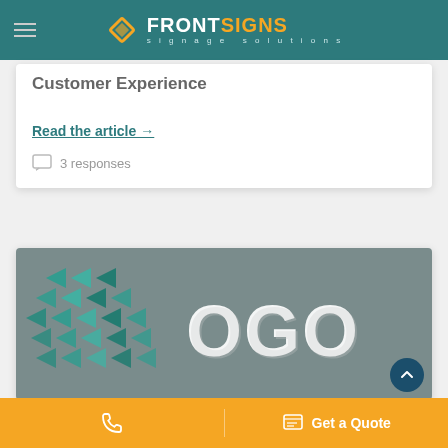FRONTSIGNS signage solutions
Customer Experience
Read the article →
3 responses
[Figure (photo): 3D geometric logo sign on a grey wall showing triangular teal/blue shapes spelling out LOGO in raised metallic letters]
Get a Quote